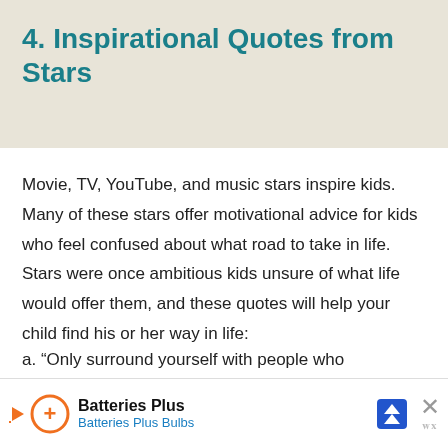4. Inspirational Quotes from Stars
Movie, TV, YouTube, and music stars inspire kids. Many of these stars offer motivational advice for kids who feel confused about what road to take in life. Stars were once ambitious kids unsure of what life would offer them, and these quotes will help your child find his or her way in life:
a. “Only surround yourself with people who
[Figure (other): Advertisement banner for Batteries Plus / Batteries Plus Bulbs with orange logo, navigation arrow icon, close button and Wordstream logo]